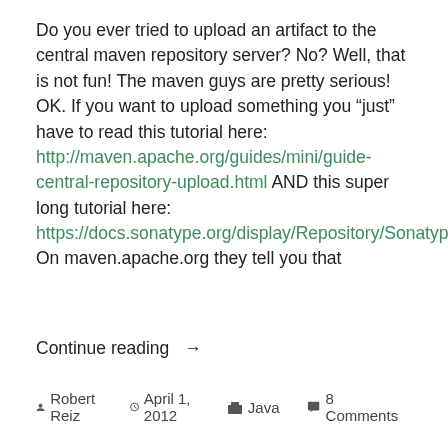Do you ever tried to upload an artifact to the central maven repository server? No? Well, that is not fun! The maven guys are pretty serious! OK. If you want to upload something you "just" have to read this tutorial here: http://maven.apache.org/guides/mini/guide-central-repository-upload.html AND this super long tutorial here: https://docs.sonatype.org/display/Repository/Sonatype+OSS+Maven+Repository+Usage+Guide On maven.apache.org they tell you that
Continue reading →
Robert Reiz   April 1, 2012   Java   8 Comments